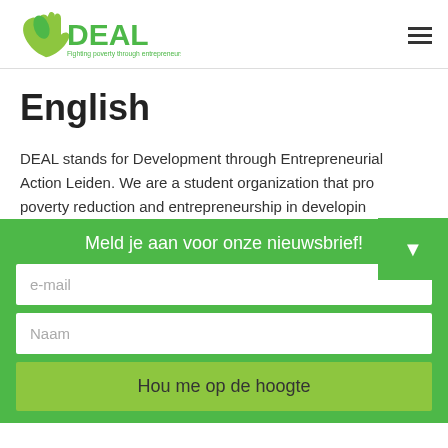[Figure (logo): DEAL logo with green hand and leaf icon, text 'Fighting poverty through entrepreneurship']
English
DEAL stands for Development through Entrepreneurial Action Leiden. We are a student organization that pro... poverty reduction and entrepreneurship in developin...
Meld je aan voor onze nieuwsbrief!
e-mail
Naam
Hou me op de hoogte